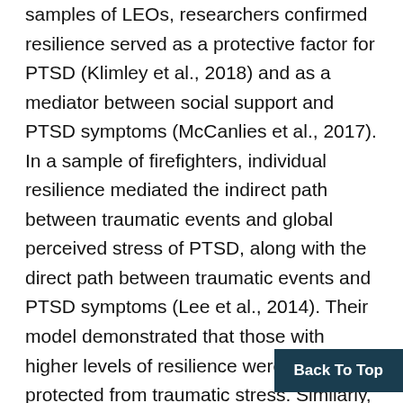samples of LEOs, researchers confirmed resilience served as a protective factor for PTSD (Klimley et al., 2018) and as a mediator between social support and PTSD symptoms (McCanlies et al., 2017). In a sample of firefighters, individual resilience mediated the indirect path between traumatic events and global perceived stress of PTSD, along with the direct path between traumatic events and PTSD symptoms (Lee et al., 2014). Their model demonstrated that those with higher levels of resilience were more protected from traumatic stress. Similarly, among emergency dispatchers, resilience was positively with positive affect and post-traumatic growth,
Back To Top